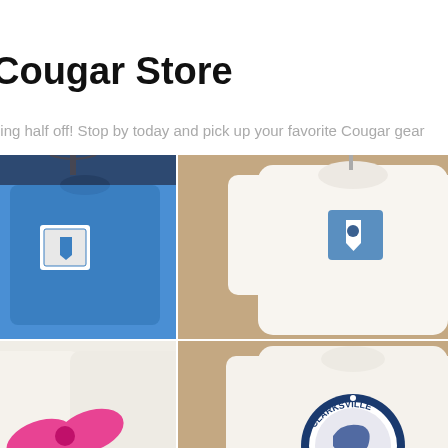Cougar Store
ning half off! Stop by today and pick up your favorite Cougar gear
[Figure (photo): Four photos of Cougar Store merchandise: blue long-sleeve shirt with pocket, white long-sleeve shirt with blue pocket and shield logo, white shirt with pink bow and logo, white long-sleeve shirt with Clarksville Academy circular logo]